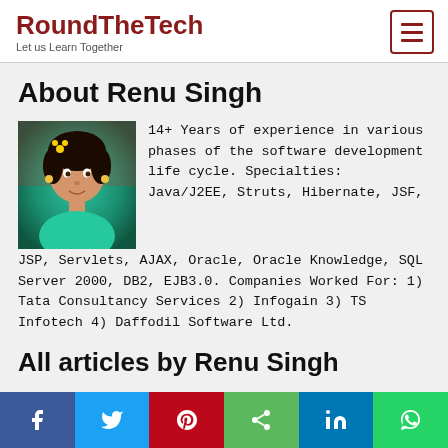RoundTheTech — Let us Learn Together
About Renu Singh
[Figure (photo): Profile photo of Renu Singh, a woman with green tinted background]
14+ Years of experience in various phases of the software development life cycle. Specialties: Java/J2EE, Struts, Hibernate, JSF, JSP, Servlets, AJAX, Oracle, Oracle Knowledge, SQL Server 2000, DB2, EJB3.0. Companies Worked For: 1) Tata Consultancy Services 2) Infogain 3) TS Infotech 4) Daffodil Software Ltd.
All articles by Renu Singh